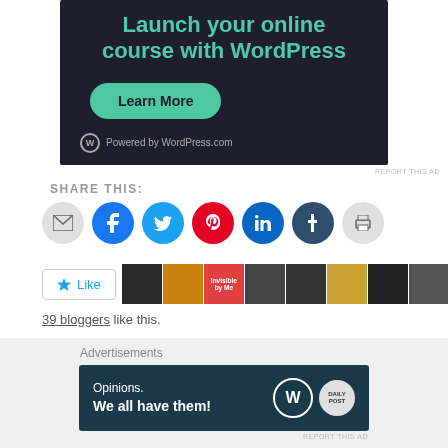[Figure (screenshot): WordPress advertisement banner: 'Launch your online course with WordPress' with Learn More button and Powered by WordPress.com footer, dark background]
REPORT THIS AD
SHARE THIS:
[Figure (infographic): Row of social sharing icon circles: email (gray), Facebook (blue), Twitter (light blue), Pinterest (red), LinkedIn (blue), Tumblr (dark blue), Print (gray)]
[Figure (infographic): Like button with star icon and avatar strip showing 39 bloggers like this]
39 bloggers like this.
[Figure (advertisement): WordPress Advertisements banner: 'Opinions. We all have them!' with WordPress and Daily Post logos on dark teal background]
REPORT THIS AD